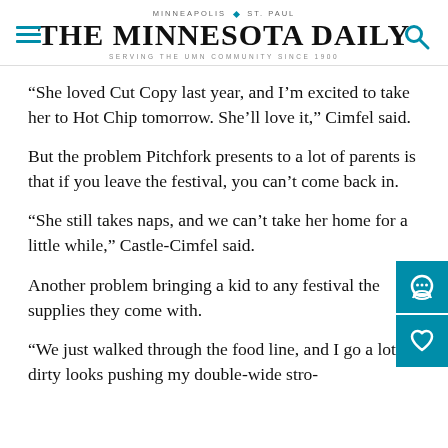MINNEAPOLIS | ST. PAUL — THE MINNESOTA DAILY — SERVING THE UMN COMMUNITY SINCE 1900
“She loved Cut Copy last year, and I’m excited to take her to Hot Chip tomorrow. She’ll love it,” Cimfel said.
But the problem Pitchfork presents to a lot of parents is that if you leave the festival, you can’t come back in.
“She still takes naps, and we can’t take her home for a little while,” Castle-Cimfel said.
Another problem bringing a kid to any festival [is] the supplies they come with.
“We just walked through the food line, and I go[t] a lot of dirty looks pushing my double-wide stro[ller]...